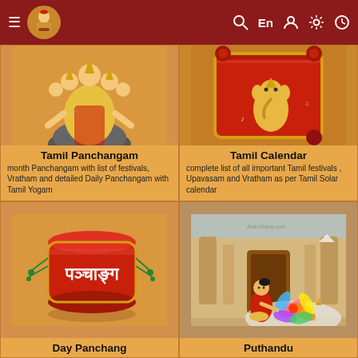Navigation bar with hamburger menu, logo, search, language (En), user, settings, clock icons
[Figure (illustration): Illustration of multi-headed deity (Brahma) seated on a rock]
Tamil Panchangam
month Panchangam with list of festivals, Vratham and detailed Daily Panchangam with Tamil Yogam
[Figure (illustration): Illustration of a red scroll/parchment with a Ganesha figure]
Tamil Calendar
complete list of all important Tamil festivals , Upavasam and Vratham as per Tamil Solar calendar
[Figure (illustration): Illustration of a red cylindrical Panchang book/scroll with Hindi text]
Day Panchang
[Figure (illustration): Illustration of a woman in traditional dress drawing a rangoli pattern in front of a temple]
Puthandu